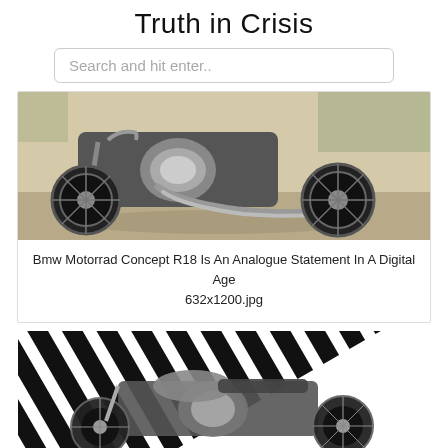Truth in Crisis
Search and hit enter..
[Figure (photo): BMW Motorrad Concept R18 motorcycle photographed outdoors on gravel/pavement, showing chrome engine and large spoked wheels, side profile view.]
Bmw Motorrad Concept R18 Is An Analogue Statement In A Digital Age
632x1200.jpg
[Figure (photo): Motorcycle with black and white zebra-stripe camouflage pattern background, black and white image, side profile.]